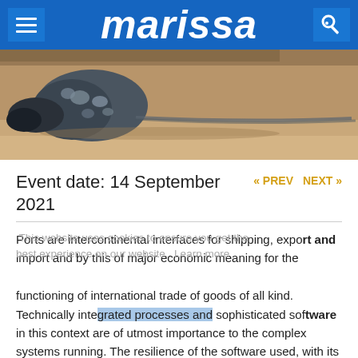MARISSA
[Figure (photo): A sea creature (possibly a turtle or jellyfish) on sandy beach]
Event date: 14 September 2021
« PREV   NEXT »
This website uses cookies to ensure you get the best experience on our website. Learn more
Ports are intercontinental interfaces for shipping, export and import and by this of major economic meaning for the functioning of international trade of goods of all kind. Technically integrated processes and sophisticated software in this context are of utmost importance to the complex systems running. The resilience of the software used, with its